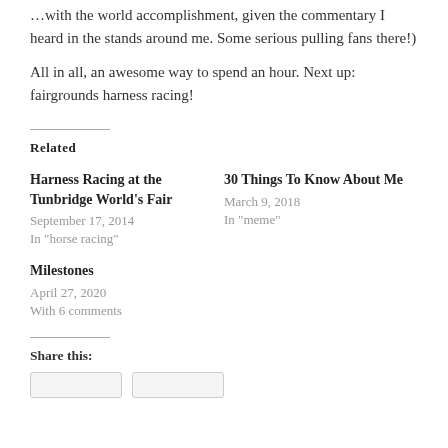…with the world accomplishment, given the commentary I heard in the stands around me. Some serious pulling fans there!)
All in all, an awesome way to spend an hour. Next up: fairgrounds harness racing!
Related
Harness Racing at the Tunbridge World's Fair
September 17, 2014
In "horse racing"
30 Things To Know About Me
March 9, 2018
In "meme"
Milestones
April 27, 2020
With 6 comments
Share this: